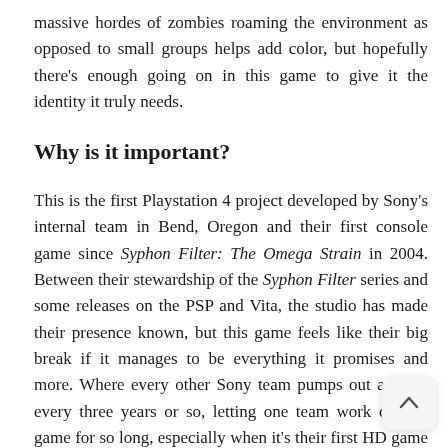massive hordes of zombies roaming the environment as opposed to small groups helps add color, but hopefully there's enough going on in this game to give it the identity it truly needs.
Why is it important?
This is the first Playstation 4 project developed by Sony's internal team in Bend, Oregon and their first console game since Syphon Filter: The Omega Strain in 2004. Between their stewardship of the Syphon Filter series and some releases on the PSP and Vita, the studio has made their presence known, but this game feels like their big break if it manages to be everything it promises and more. Where every other Sony team pumps out a game every three years or so, letting one team work on one game for so long, especially when it's their first HD game period, feels like the right decision, but a risky one nevertheless. I'm going to remain positive on it until I can check it out for myself, but it does seem like the deck is stacked against Days Gone just a bit